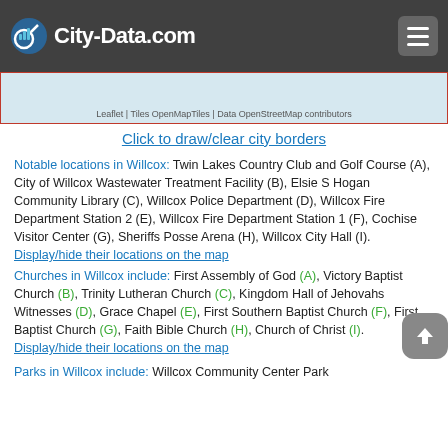City-Data.com
[Figure (map): Map strip showing city borders area with Leaflet/OpenMapTiles attribution]
Click to draw/clear city borders
Notable locations in Willcox: Twin Lakes Country Club and Golf Course (A), City of Willcox Wastewater Treatment Facility (B), Elsie S Hogan Community Library (C), Willcox Police Department (D), Willcox Fire Department Station 2 (E), Willcox Fire Department Station 1 (F), Cochise Visitor Center (G), Sheriffs Posse Arena (H), Willcox City Hall (I). Display/hide their locations on the map
Churches in Willcox include: First Assembly of God (A), Victory Baptist Church (B), Trinity Lutheran Church (C), Kingdom Hall of Jehovahs Witnesses (D), Grace Chapel (E), First Southern Baptist Church (F), First Baptist Church (G), Faith Bible Church (H), Church of Christ (I). Display/hide their locations on the map
Parks in Willcox include: Willcox Community Center Park